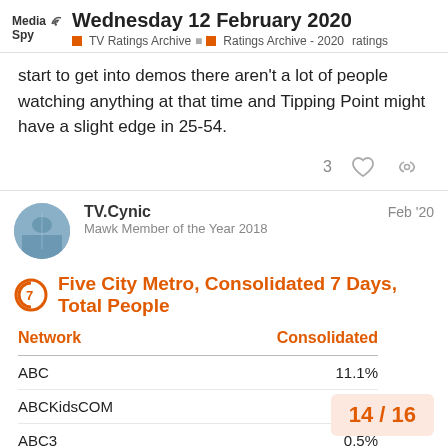Wednesday 12 February 2020 | TV Ratings Archive | Ratings Archive - 2020 | ratings
start to get into demos there aren't a lot of people watching anything at that time and Tipping Point might have a slight edge in 25-54.
TV.Cynic — Feb '20
Mawk Member of the Year 2018
Five City Metro, Consolidated 7 Days, Total People
| Network | Consolidated |
| --- | --- |
| ABC | 11.1% |
| ABCKidsCOM | 2.1% |
| ABC3 | 0.5% |
14 / 16